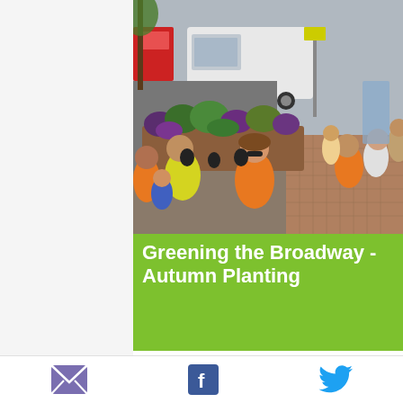[Figure (photo): Group of community volunteers in hi-vis vests planting flowers and shrubs in street planters along a city pavement. A white van is visible in the background along with shops and pedestrians.]
Greening the Broadway - Autumn Planting
Members of the local community came together yesterday to plant out the next set of bench
[Figure (infographic): Three social sharing icons: email (envelope), Facebook (f logo), Twitter (bird logo)]